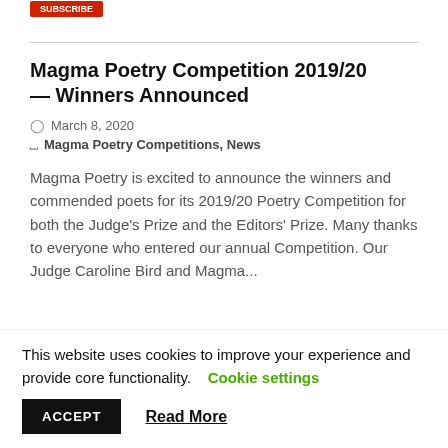Magma Poetry Competition 2019/20 — Winners Announced
March 8, 2020
Magma Poetry Competitions, News
Magma Poetry is excited to announce the winners and commended poets for its 2019/20 Poetry Competition for both the Judge's Prize and the Editors' Prize. Many thanks to everyone who entered our annual Competition. Our Judge Caroline Bird and Magma...
This website uses cookies to improve your experience and provide core functionality. Cookie settings
ACCEPT
Read More